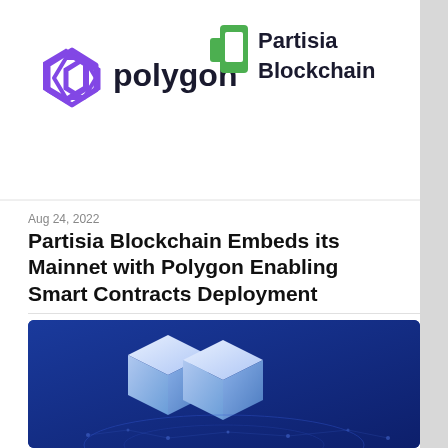[Figure (logo): Polygon logo (purple geometric shape with 'polygon' text) and Partisia Blockchain logo (green cactus-like icon with 'Partisia Blockchain' text) side by side on white background]
Aug 24, 2022
Partisia Blockchain Embeds its Mainnet with Polygon Enabling Smart Contracts Deployment
[Figure (illustration): Blue background image with 3D isometric blockchain cube/block shapes in light blue and white, with a network/globe graphic at the bottom]